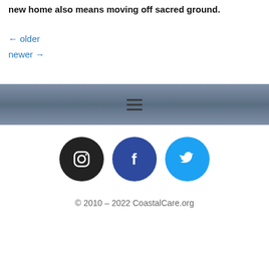new home also means moving off sacred ground.
← older
newer →
[Figure (screenshot): Navigation bar with hamburger menu icon on a blue-grey gradient background]
[Figure (infographic): Three social media icons: Instagram (black circle), Facebook (dark blue circle), Twitter (light blue circle)]
© 2010 – 2022 CoastalCare.org